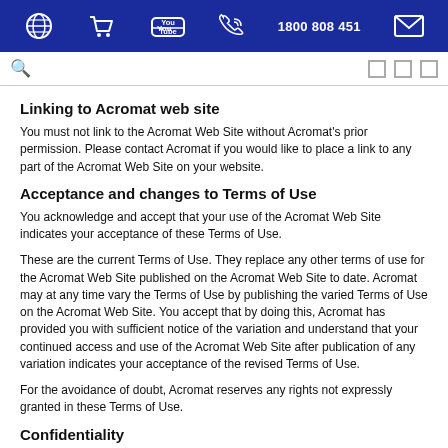1800 808 451
Linking to Acromat web site
You must not link to the Acromat Web Site without Acromat's prior permission. Please contact Acromat if you would like to place a link to any part of the Acromat Web Site on your website.
Acceptance and changes to Terms of Use
You acknowledge and accept that your use of the Acromat Web Site indicates your acceptance of these Terms of Use.
These are the current Terms of Use. They replace any other terms of use for the Acromat Web Site published on the Acromat Web Site to date. Acromat may at any time vary the Terms of Use by publishing the varied Terms of Use on the Acromat Web Site. You accept that by doing this, Acromat has provided you with sufficient notice of the variation and understand that your continued access and use of the Acromat Web Site after publication of any variation indicates your acceptance of the revised Terms of Use.
For the avoidance of doubt, Acromat reserves any rights not expressly granted in these Terms of Use.
Confidentiality